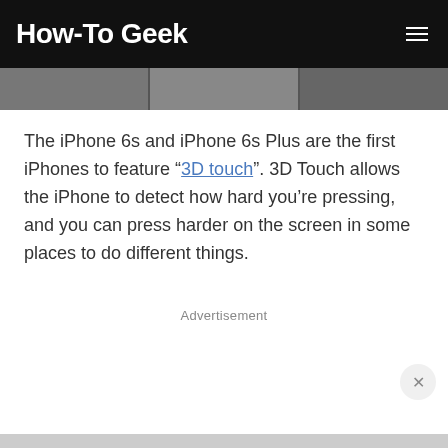How-To Geek
[Figure (photo): Partial image strip showing fragmented photos across the top of the article]
The iPhone 6s and iPhone 6s Plus are the first iPhones to feature “3D touch”. 3D Touch allows the iPhone to detect how hard you’re pressing, and you can press harder on the screen in some places to do different things.
Advertisement